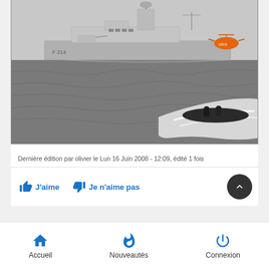[Figure (photo): Naval scene showing a large military frigate (F214) on the sea with a small orange helicopter visible in the background, and a small motorized inflatable boat with people speeding in the foreground, creating a wake. Black and white photo.]
Dernière édition par olivier le Lun 16 Juin 2008 - 12:09, édité 1 fois
J'aime   Je n'aime pas
Accueil   Nouveautés   Connexion